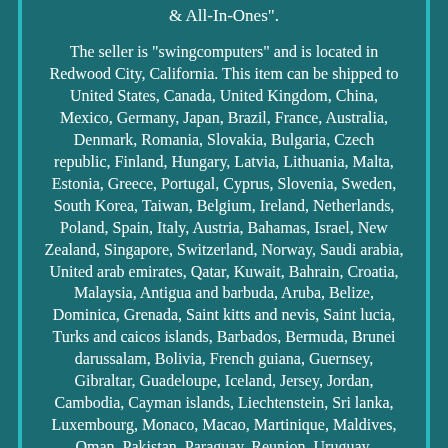& All-In-Ones".
The seller is "swingcomputers" and is located in Redwood City, California. This item can be shipped to United States, Canada, United Kingdom, China, Mexico, Germany, Japan, Brazil, France, Australia, Denmark, Romania, Slovakia, Bulgaria, Czech republic, Finland, Hungary, Latvia, Lithuania, Malta, Estonia, Greece, Portugal, Cyprus, Slovenia, Sweden, South Korea, Taiwan, Belgium, Ireland, Netherlands, Poland, Spain, Italy, Austria, Bahamas, Israel, New Zealand, Singapore, Switzerland, Norway, Saudi arabia, United arab emirates, Qatar, Kuwait, Bahrain, Croatia, Malaysia, Antigua and barbuda, Aruba, Belize, Dominica, Grenada, Saint kitts and nevis, Saint lucia, Turks and caicos islands, Barbados, Bermuda, Brunei darussalam, Bolivia, French guiana, Guernsey, Gibraltar, Guadeloupe, Iceland, Jersey, Jordan, Cambodia, Cayman islands, Liechtenstein, Sri lanka, Luxembourg, Monaco, Macao, Martinique, Maldives, Oman, Pakistan, Paraguay, Reunion, Uruguay.
MPN: NA Brand: Dell UPC: NA Manufacturer